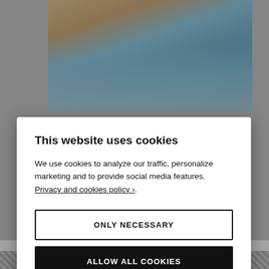[Figure (photo): Photograph of a woman in a flowing light blue dress on a beach at sunset, with ocean waves in the background.]
This website uses cookies
We use cookies to analyze our traffic, personalize marketing and to provide social media features. Privacy and cookies policy ›.
ONLY NECESSARY
ALLOW ALL COOKIES
CONFIGURE SETTINGS ›